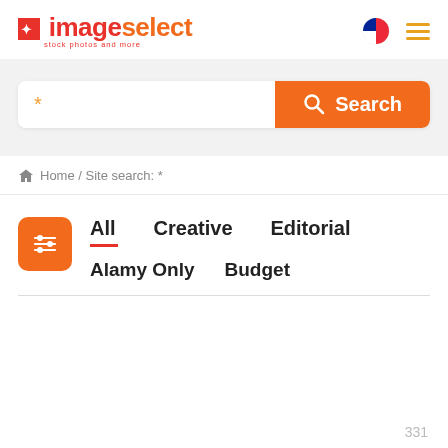[Figure (logo): imageselect logo — red icon with 'image' in red/orange and 'select' in orange, tagline 'stock photos and more']
[Figure (infographic): French flag circle icon and hamburger menu icon (three orange horizontal lines)]
[Figure (screenshot): Search box with asterisk (*) input and orange Search button with magnifying glass icon]
Home / Site search: *
[Figure (infographic): Orange square filter/sliders icon]
All	Creative	Editorial
Alamy Only	Budget
331